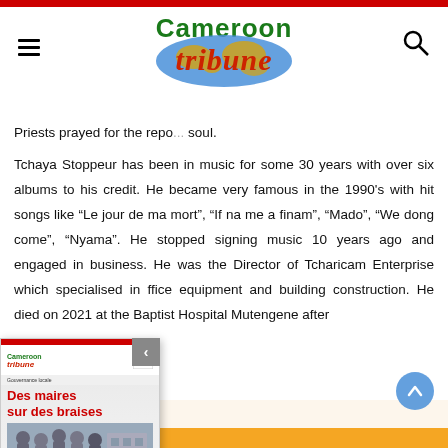Cameroon Tribune
Priests prayed for the repo... soul.
Tchaya Stoppeur has been in music for some 30 years with over six albums to his credit. He became very famous in the 1990's with hit songs like “Le jour de ma mort”, “If na me a finam”, “Mado”, “We dong come”, “Nyama”. He stopped signing music 10 years ago and engaged in business. He was the Director of Tcharicam Enterprise which specialised in ffice equipment and building construction. He died on 2021 at the Baptist Hospital Mutengene after
[Figure (screenshot): Newspaper popup widget showing Cameroon Tribune front page with headline 'Des maires sur des braises' with a READ NEWSPAPER button]